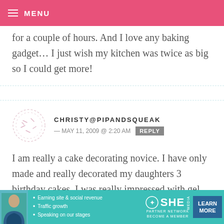MENU
for a couple of hours. And I love any baking gadget… I just wish my kitchen was twice as big so I could get more!
CHRISTY@PIPANDSQUEAK — MAY 11, 2009 @ 2:20 AM REPLY
I am really a cake decorating novice. I have only made and really decorated my daughters 3 birthday cakes. I was really impressed with gel food coloring rather than the liquid drops I had
[Figure (infographic): SHE Partner Network advertisement banner with photo of woman, bullet points about earning, traffic growth, speaking on stages, SHE logo, and Learn More button]